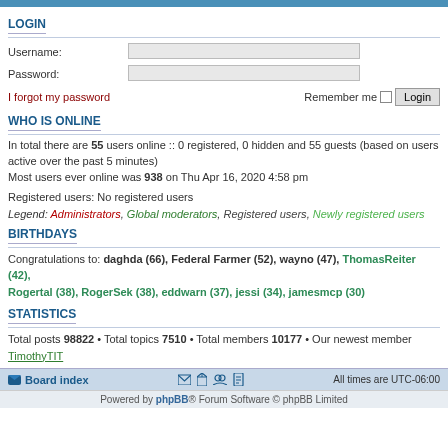LOGIN
Username:
Password:
I forgot my password    Remember me  Login
WHO IS ONLINE
In total there are 55 users online :: 0 registered, 0 hidden and 55 guests (based on users active over the past 5 minutes)
Most users ever online was 938 on Thu Apr 16, 2020 4:58 pm
Registered users: No registered users
Legend: Administrators, Global moderators, Registered users, Newly registered users
BIRTHDAYS
Congratulations to: daghda (66), Federal Farmer (52), wayno (47), ThomasReiter (42), Rogertal (38), RogerSek (38), eddwarn (37), jessi (34), jamesmcp (30)
STATISTICS
Total posts 98822 • Total topics 7510 • Total members 10177 • Our newest member TimothyTIT
Board index    All times are UTC-06:00
Powered by phpBB® Forum Software © phpBB Limited